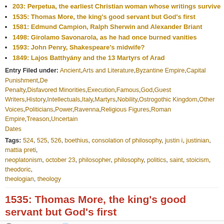203: Perpetua, the earliest Christian woman whose writings survive
1535: Thomas More, the king's good servant but God's first
1581: Edmund Campion, Ralph Sherwin and Alexander Briant
1498: Girolamo Savonarola, as he had once burned vanities
1593: John Penry, Shakespeare's midwife?
1849: Lajos Batthyány and the 13 Martyrs of Arad
Entry Filed under: Ancient,Arts and Literature,Byzantine Empire,Capital Punishment,Death Penalty,Disfavored Minorities,Execution,Famous,God,Guest Writers,History,Intellectuals,Italy,Martyrs,Nobility,Ostrogothic Kingdom,Other Voices,Politicians,Power,Ravenna,Religious Figures,Roman Empire,Treason,Uncertain Dates
Tags: 524, 525, 526, boethius, consolation of philosophy, justin i, justinian, mattia preti, neoplatonism, october 23, philosopher, philosophy, politics, saint, stoicism, theodoric, theologian, theology
1535: Thomas More, the king's good servant but God's first
16 comments | July 6th, 2008 | Headsman
On this date in 1535, Sir — later Saint — Thomas More kept his conscience at the expense of his head on Tower Hill.
For all More's greatness — as intellectual, polemicist, lawyer, statesman, father — none of his many gifts at the end could avail him beside his commitment to Catholicism at the dawn of the English Reformation.
[Figure (photo): Portrait painting of Thomas More, a man in dark clothing with a green draped background]
Yet it is for those gifts that he cut such a